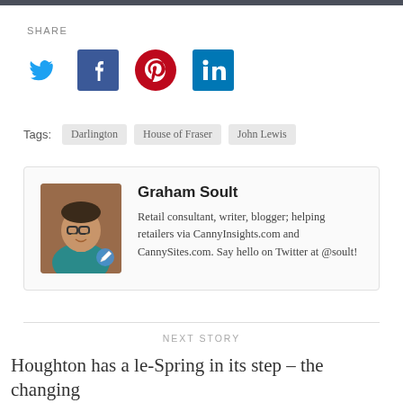SHARE
[Figure (infographic): Social sharing icons: Twitter (blue bird), Facebook (blue f), Pinterest (red P), LinkedIn (blue in)]
Tags: Darlington  House of Fraser  John Lewis
[Figure (photo): Author photo of Graham Soult, a man with glasses wearing a teal shirt, in a warmly lit indoor setting]
Graham Soult
Retail consultant, writer, blogger; helping retailers via CannyInsights.com and CannySites.com. Say hello on Twitter at @soult!
NEXT STORY
Houghton has a le-Spring in its step – the changing